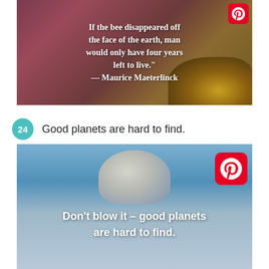[Figure (photo): Quote image with bee on a flower against a dark reddish-brown background. Text reads: 'If the bee disappeared off the face of the earth, man would only have four years left to live.' — Maurice Maeterlinck]
24  Good planets are hard to find.
[Figure (photo): Quote image with aerial/satellite view of Earth or volcano with sky background. Text reads: Don't blow it – good planets are hard to find.]